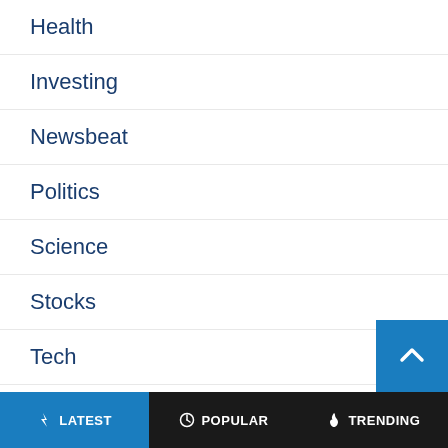Health
Investing
Newsbeat
Politics
Science
Stocks
Tech
U.S.
World
Your Money
⚡ LATEST   🕐 POPULAR   🔥 TRENDING